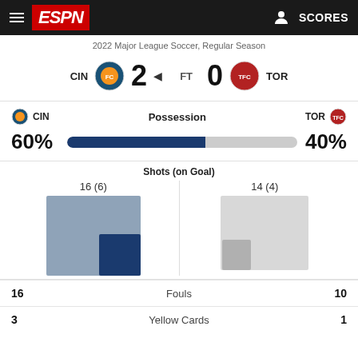ESPN  SCORES
2022 Major League Soccer, Regular Season
CIN  2  FT  0  TOR
Possession
[Figure (bar-chart): Possession]
Shots (on Goal)
[Figure (infographic): Shots comparison squares: CIN 16(6) larger blue square with smaller dark blue inset, TOR 14(4) lighter gray square with smaller gray inset]
16  Fouls  10
3  Yellow Cards  1